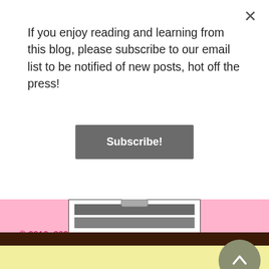If you enjoy reading and learning from this blog, please subscribe to our email list to be notified of new posts, hot off the press!
Subscribe!
[Figure (other): Partial view of a clipboard illustration on a pink background]
© 2010–2020 by Jin Kim.
All rights reserved.
Please do not repost material outside of this blog without permission or referencing. Thank you and enjoy!
Categories